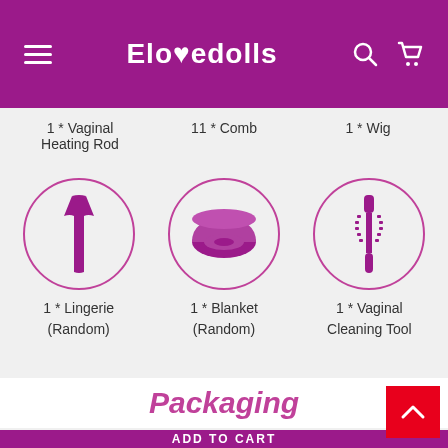Elovedolls
1 * Vaginal Heating Rod
11 * Comb
1 * Wig
[Figure (illustration): Icon of a dress/lingerie inside a pink circle]
1 * Lingerie (Random)
[Figure (illustration): Icon of a rolled blanket inside a pink circle]
1 * Blanket (Random)
[Figure (illustration): Icon of a vaginal cleaning tool inside a pink circle]
1 * Vaginal Cleaning Tool
Packaging
ADD TO CART